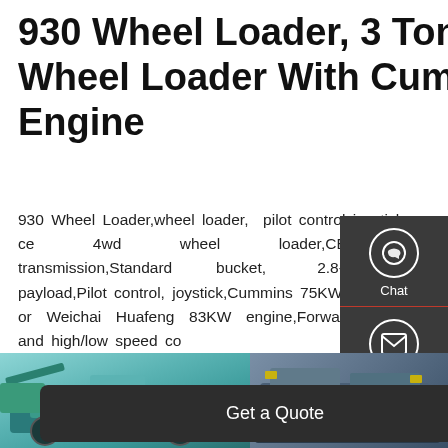930 Wheel Loader, 3 Ton Wheel Loader With Cummis Engine
930 Wheel Loader,wheel loader, pilot control joystick ce 4wd wheel loader,CE,, hydraulic transmission,Standard bucket, 2.8-3.3 payload,Pilot control, joystick,Cummins 75KW engine or Weichai Huafeng 83KW engine,Forward/reverse and high/low speed co
[Figure (screenshot): Dark side panel with Chat, Email, and Contact icons on right side of page]
[Figure (photo): Bottom strip showing two wheel loader machine photos, one teal/green colored and one gray]
Get a Quote